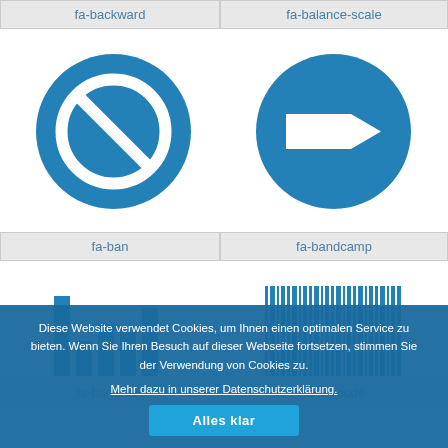fa-backward
fa-balance-scale
[Figure (illustration): Blue circle with a ban/prohibited icon (circle with diagonal line through it) - fa-ban icon]
[Figure (illustration): Blue circle with a parallelogram/diamond shape inside - fa-bandcamp icon]
fa-ban
fa-bandcamp
[Figure (illustration): Blue bar chart icon - fa-bar-chart]
[Figure (illustration): Blue barcode icon with vertical lines - fa-barcode]
fa-bar-chart
fa-barcode
Diese Website verwendet Cookies, um Ihnen einen optimalen Service zu bieten. Wenn Sie Ihren Besuch auf dieser Webseite fortsetzen, stimmen Sie der Verwendung von Cookies zu.
Mehr dazu in unserer Datenschutzerklärung.
Alles klar